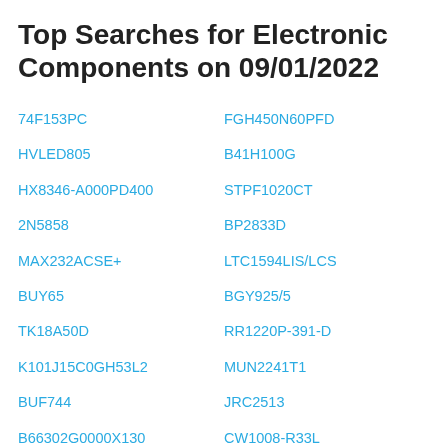Top Searches for Electronic Components on 09/01/2022
74F153PC
FGH450N60PFD
HVLED805
B41H100G
HX8346-A000PD400
STPF1020CT
2N5858
BP2833D
MAX232ACSE+
LTC1594LIS/LCS
BUY65
BGY925/5
TK18A50D
RR1220P-391-D
K101J15C0GH53L2
MUN2241T1
BUF744
JRC2513
B66302G0000X130
CW1008-R33L